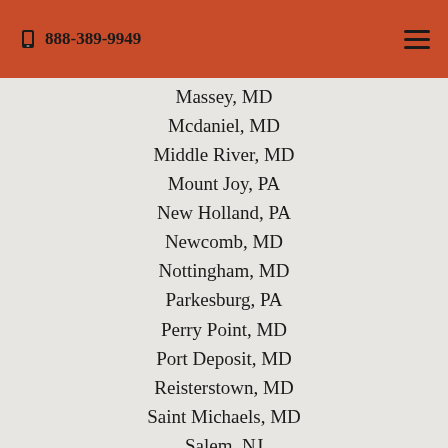888-389-9949
Massey, MD
Mcdaniel, MD
Middle River, MD
Mount Joy, PA
New Holland, PA
Newcomb, MD
Nottingham, MD
Parkesburg, PA
Perry Point, MD
Port Deposit, MD
Reisterstown, MD
Saint Michaels, MD
Salem, NJ
Savage, MD
Sherwood, MD
Steelville, PA
Still Pond, MD
Sunlea, PA